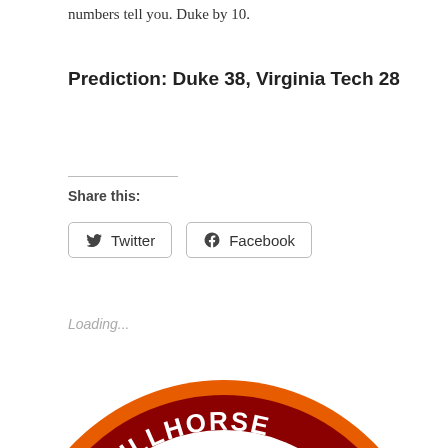numbers tell you. Duke by 10.
Prediction: Duke 38, Virginia Tech 28
Share this:
Loading...
[Figure (logo): Treadmill Horse logo — circular badge with dark red background and orange border ring, white arched text reading TREADMILLHORSE along the top arc, with a cartoon horse head illustration in the center.]